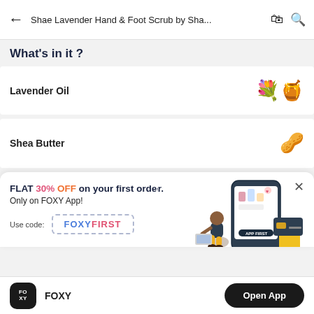← Shae Lavender Hand & Foot Scrub by Sha...
What's in it ?
Lavender Oil
Shea Butter
FLAT 30% OFF on your first order. Only on FOXY App!
Use code: FOXYFIRST
[Figure (illustration): Promotional illustration of a person sitting in front of a large smartphone showing beauty products, with a credit card and shopping bag]
FOXY
Open App